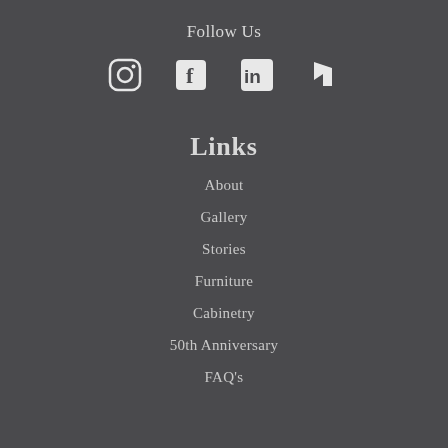Follow Us
[Figure (illustration): Social media icons: Instagram, Facebook, LinkedIn, Houzz]
Links
About
Gallery
Stories
Furniture
Cabinetry
50th Anniversary
FAQ's